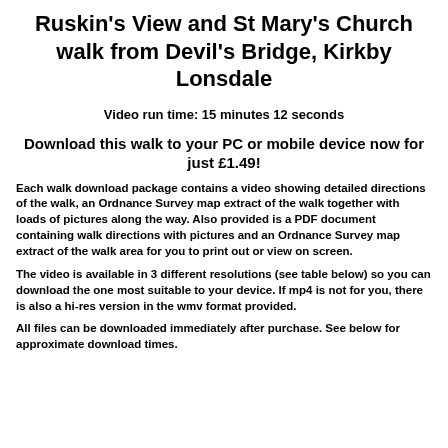Ruskin's View and St Mary's Church walk from Devil's Bridge, Kirkby Lonsdale
Video run time: 15 minutes 12 seconds
Download this walk to your PC or mobile device now for just £1.49!
Each walk download package contains a video showing detailed directions of the walk, an Ordnance Survey map extract of the walk together with loads of pictures along the way. Also provided is a PDF document containing walk directions with pictures and an Ordnance Survey map extract of the walk area for you to print out or view on screen.
The video is available in 3 different resolutions (see table below) so you can download the one most suitable to your device. If mp4 is not for you, there is also a hi-res version in the wmv format provided.
All files can be downloaded immediately after purchase. See below for approximate download times.